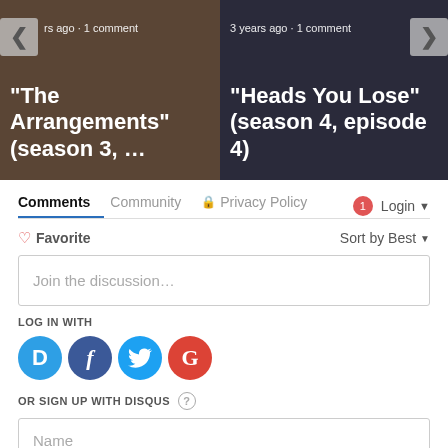[Figure (screenshot): Carousel showing two TV episode thumbnails. Left: 'The Arrangements' (season 3, ...) with text 'rs ago · 1 comment'. Right: 'Heads You Lose' (season 4, episode 4) with text '3 years ago · 1 comment'. Navigation arrows on each side.]
Comments  Community  🔒 Privacy Policy  1  Login ▾
♡ Favorite
Sort by Best ▾
Join the discussion...
LOG IN WITH
[Figure (logo): Social login icons: Disqus (D), Facebook (f), Twitter (bird), Google (G)]
OR SIGN UP WITH DISQUS ?
Name